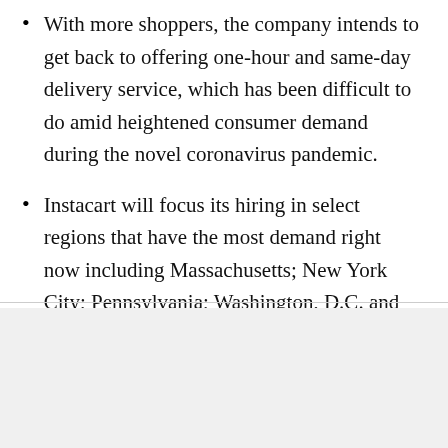With more shoppers, the company intends to get back to offering one-hour and same-day delivery service, which has been difficult to do amid heightened consumer demand during the novel coronavirus pandemic.
Instacart will focus its hiring in select regions that have the most demand right now including Massachusetts; New York City; Pennsylvania; Washington, D.C. and Toronto.
This website stores data such as cookies to enable essential site functionality, as well as marketing, personalization, and analytics. By remaining on this website you indicate your consent. Privacy Policy